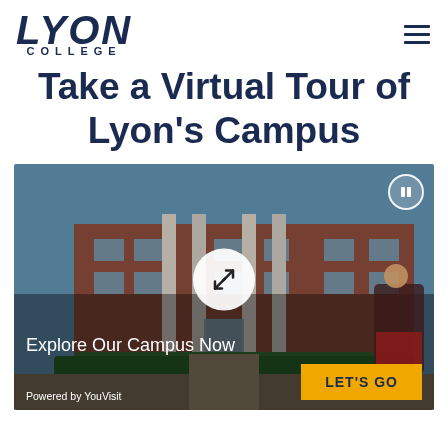[Figure (logo): Lyon College logo with bold italic LYON text and COLLEGE subtitle in navy blue]
Take a Virtual Tour of Lyon's Campus
[Figure (screenshot): Virtual tour interface showing Lyon College campus building with white columns, a man in Scottish kilt playing bagpipes on the right. Center has a white circle expand/fullscreen icon. Top right has a pause button. Bottom overlay shows 'Explore Our Campus Now' text, a gold 'LET'S GO' button, and 'Powered by YouVisit' text.]